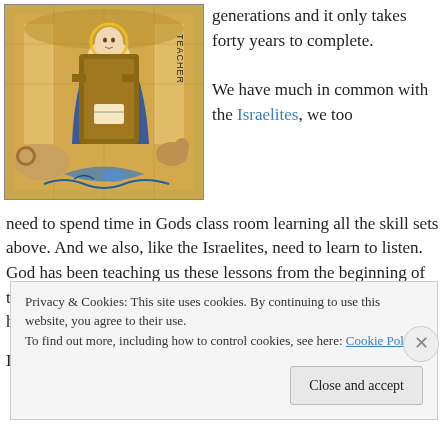[Figure (illustration): Byzantine/mosaic style illustration of a seated figure (teacher/religious figure) on a throne with animals and decorative elements, labeled 'TEACHER']
generations and it only takes forty years to complete.
We have much in common with the Israelites, we too need to spend time in Gods class room learning all the skill sets above. And we also, like the Israelites, need to learn to listen. God has been teaching us these lessons from the beginning of time. Adam and Eve failed the exam the Israelites failed as have we.
Lent offers us our own time to enter in to the desert, a time
Privacy & Cookies: This site uses cookies. By continuing to use this website, you agree to their use.
To find out more, including how to control cookies, see here: Cookie Policy